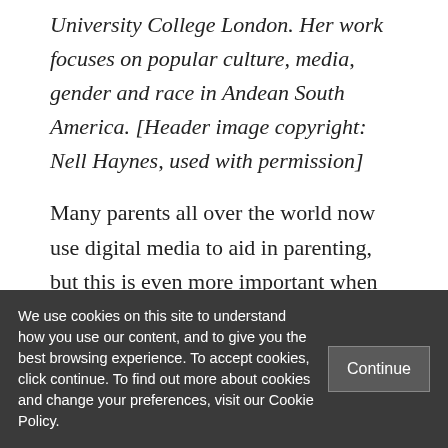University College London. Her work focuses on popular culture, media, gender and race in Andean South America. [Header image copyright: Nell Haynes, used with permission]
Many parents all over the world now use digital media to aid in parenting, but this is even more important when they are not physically present. Daniel Miller and Mirca
We use cookies on this site to understand how you use our content, and to give you the best browsing experience. To accept cookies, click continue. To find out more about cookies and change your preferences, visit our Cookie Policy.